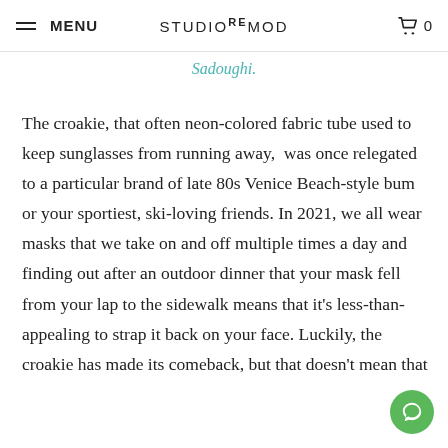MENU | STUDIOREMOD | 0
Sadoughi.
The croakie, that often neon-colored fabric tube used to keep sunglasses from running away,  was once relegated to a particular brand of late 80s Venice Beach-style bum or your sportiest, ski-loving friends. In 2021, we all wear masks that we take on and off multiple times a day and finding out after an outdoor dinner that your mask fell from your lap to the sidewalk means that it’s less-than-appealing to strap it back on your face. Luckily, the croakie has made its comeback, but that doesn’t mean that